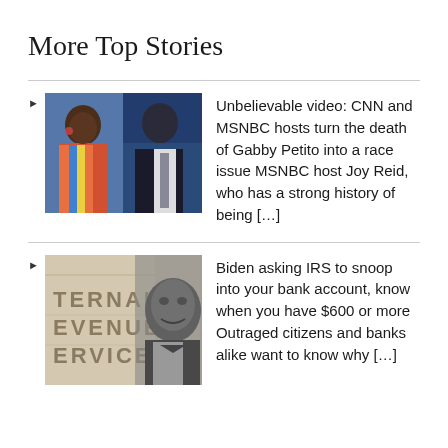More Top Stories
[Figure (photo): Two TV news hosts side by side on a blue background – a woman in colorful striped top (Joy Reid) on the left and a man in suit and tie (Don Lemon) on the right]
Unbelievable video: CNN and MSNBC hosts turn the death of Gabby Petito into a race issue MSNBC host Joy Reid, who has a strong history of being […]
[Figure (photo): IRS building exterior with engraved text TERNAL EVENUE ERVICE (Internal Revenue Service), with a grayscale photo of a man overlaid]
Biden asking IRS to snoop into your bank account, know when you have $600 or more Outraged citizens and banks alike want to know why […]